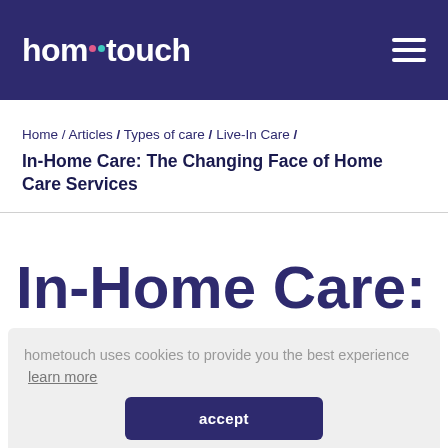hometouch
Home / Articles / Types of care / Live-In Care / In-Home Care: The Changing Face of Home Care Services
In-Home Care: The
hometouch uses cookies to provide you the best experience  learn more
accept